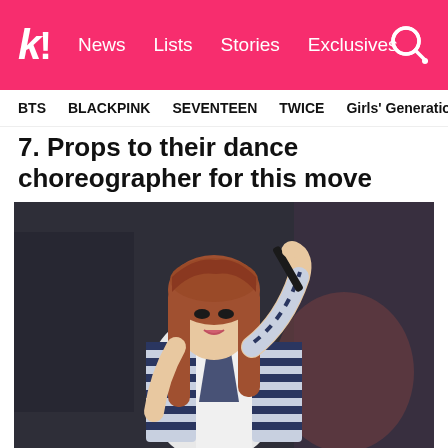k! News Lists Stories Exclusives
BTS  BLACKPINK  SEVENTEEN  TWICE  Girls' Generation
7. Props to their dance choreographer for this move
[Figure (photo): A young woman with long reddish-brown hair wearing a white top and navy-blue striped jacket, performing a dance move with one arm raised holding what appears to be a prop, outdoors with a dark background]